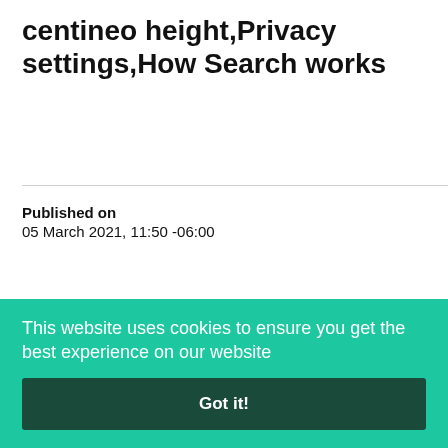centineo height,Privacy settings,How Search works
Published on
05 March 2021, 11:50 -06:00
AUTHOR
Gordon James
SHARE ARTICLE
This website uses cookies to ensure you get the best experience on our website
Got it!